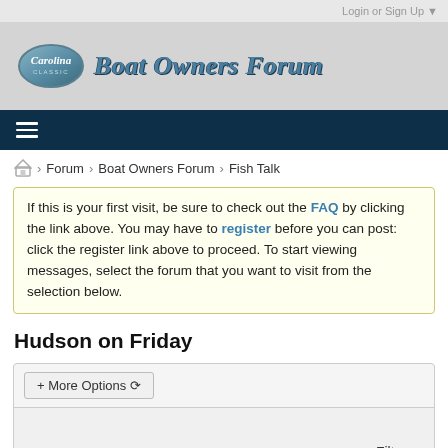Login or Sign Up ▼
[Figure (logo): Carolina Classic logo oval with 'Boat Owners Forum' text in stylized italic]
Forum › Boat Owners Forum › Fish Talk
If this is your first visit, be sure to check out the FAQ by clicking the link above. You may have to register before you can post: click the register link above to proceed. To start viewing messages, select the forum that you want to visit from the selection below.
Hudson on Friday
+ More Options ▾
Filter ▼